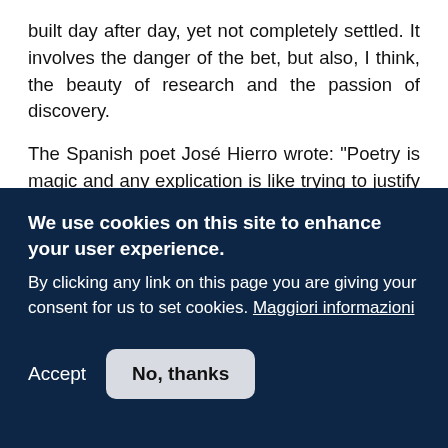built day after day, yet not completely settled. It involves the danger of the bet, but also, I think, the beauty of research and the passion of discovery.
The Spanish poet José Hierro wrote: "Poetry is magic and any explication is like trying to justify the miracle through
We use cookies on this site to enhance your user experience.
By clicking any link on this page you are giving your consent for us to set cookies. Maggiori informazioni
Accept
No, thanks